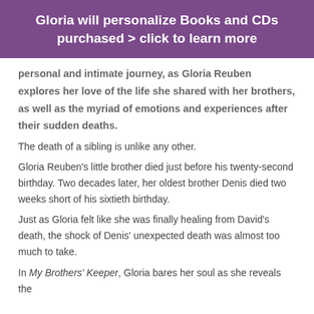Gloria will personalize Books and CDs purchased > click to learn more
personal and intimate journey, as Gloria Reuben explores her love of the life she shared with her brothers, as well as the myriad of emotions and experiences after their sudden deaths.
The death of a sibling is unlike any other.
Gloria Reuben's little brother died just before his twenty-second birthday. Two decades later, her oldest brother Denis died two weeks short of his sixtieth birthday.
Just as Gloria felt like she was finally healing from David's death, the shock of Denis' unexpected death was almost too much to take.
In My Brothers' Keeper, Gloria bares her soul as she reveals the